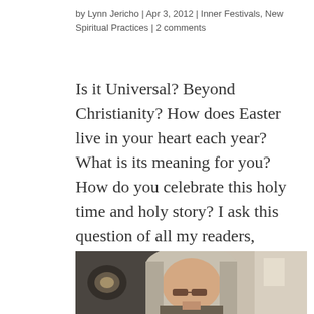by Lynn Jericho | Apr 3, 2012 | Inner Festivals, New Spiritual Practices | 2 comments
Is it Universal? Beyond Christianity? How does Easter live in your heart each year? What is its meaning for you? How do you celebrate this holy time and holy story? I ask this question of all my readers, whether you are Christian or not. The Inner Year looks to the...
[Figure (photo): A woman with gray hair and glasses, photographed from the shoulders up, indoors with artwork visible in the background.]